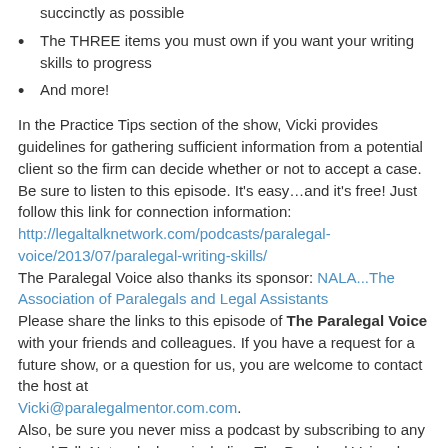succinctly as possible
The THREE items you must own if you want your writing skills to progress
And more!
In the Practice Tips section of the show, Vicki provides guidelines for gathering sufficient information from a potential client so the firm can decide whether or not to accept a case. Be sure to listen to this episode. It's easy…and it's free! Just follow this link for connection information: http://legaltalknetwork.com/podcasts/paralegal-voice/2013/07/paralegal-writing-skills/
The Paralegal Voice also thanks its sponsor: NALA...The Association of Paralegals and Legal Assistants
Please share the links to this episode of The Paralegal Voice with your friends and colleagues. If you have a request for a future show, or a question for us, you are welcome to contact the host at Vicki@paralegalmentor.com.com.
Also, be sure you never miss a podcast by subscribing to any Legal Talk Network show, including The Paralegal Voice, by using the RSS Feed links or iTunes links at